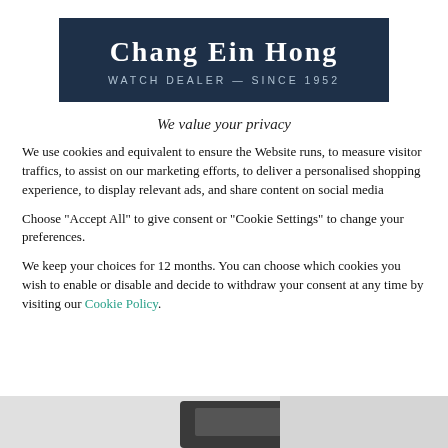[Figure (logo): Chang Ein Hong watch dealer logo — dark navy blue banner with brand name in white serif capitals and tagline 'WATCH DEALER — SINCE 1952' in spaced white sans-serif]
We value your privacy
We use cookies and equivalent to ensure the Website runs, to measure visitor traffics, to assist on our marketing efforts, to deliver a personalised shopping experience, to display relevant ads, and share content on social media
Choose "Accept All" to give consent or "Cookie Settings" to change your preferences.
We keep your choices for 12 months. You can choose which cookies you wish to enable or disable and decide to withdraw your consent at any time by visiting our Cookie Policy.
[Figure (photo): Partial bottom image showing a watch or watch-related product on a white/grey surface]